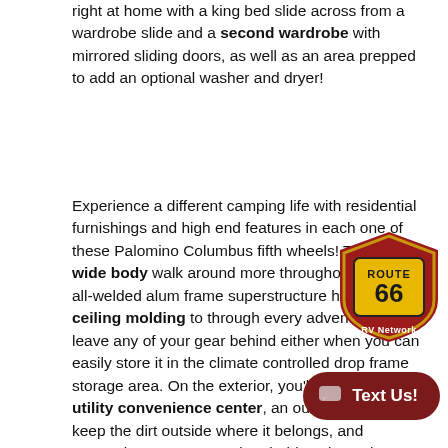right at home with a king bed slide across from a wardrobe slide and a second wardrobe with mirrored sliding doors, as well as an area prepped to add an optional washer and dryer!
Experience a different camping life with residential furnishings and high end features in each one of these Palomino Columbus fifth wheels! The 101" wide body walk around more throughout and the all-welded alum frame superstructure has a snap-in ceiling molding to through every adventure. Don't leave any of your gear behind either when you can easily store it in the climate controlled drop frame storage area. On the exterior, you'll find a heated utility convenience center, an outside shower to keep the dirt outside where it belongs, and magnetic compartment door holds to keep them from falling on you as you grab your items. Plus, there are some modern features that will deal like the Wi-Fi Booster with 4G LTE capab vacuum system, the preparations for a washer/dryer, and the
[Figure (logo): Route 66 RV Network logo badge - red shield shape with gold Route 66 highway sign design and yellow/black coloring]